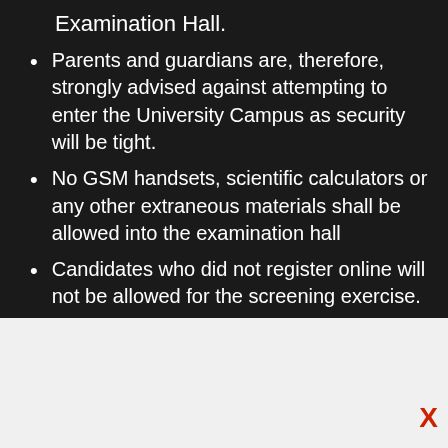Examination Hall.
Parents and guardians are, therefore, strongly advised against attempting to enter the University Campus as security will be tight.
No GSM handsets, scientific calculators or any other extraneous materials shall be allowed into the examination hall
Candidates who did not register online will not be allowed for the screening exercise.